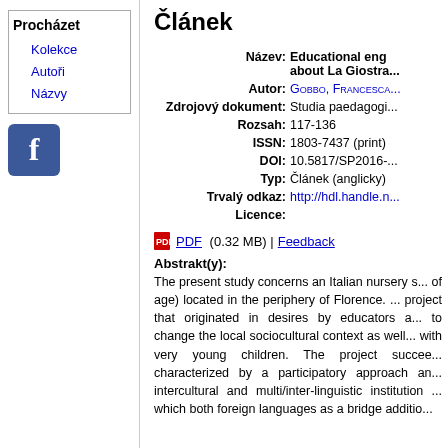Procházet
Kolekce
Autoři
Názvy
[Figure (logo): Facebook logo icon - blue rounded square with white letter f]
Článek
| Název: | Educational eng... about La Giostra... |
| Autor: | Gobbo, Francesca... |
| Zdrojový dokument: | Studia paedagogi... |
| Rozsah: | 117-136 |
| ISSN: | 1803-7437 (print) |
| DOI: | 10.5817/SP2016-... |
| Typ: | Článek (anglicky) |
| Trvalý odkaz: | http://hdl.handle.n... |
| Licence: |  |
PDF (0.32 MB) | Feedback
Abstrakt(y):
The present study concerns an Italian nursery s... of age) located in the periphery of Florence. ... project that originated in desires by educators a... to change the local sociocultural context as well... with very young children. The project succee... characterized by a participatory approach an... intercultural and multi/inter-linguistic institution ... which both foreign languages as a bridge additio...